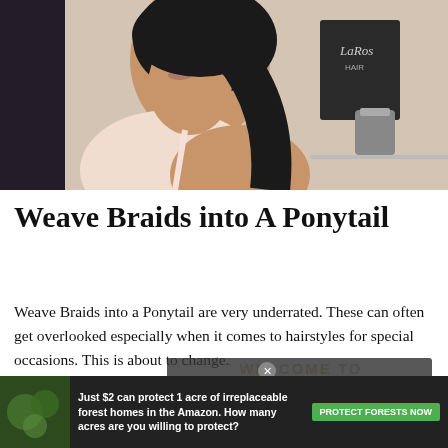[Figure (photo): Woman with long dark hair sitting in what appears to be a hair salon, LaRosh Hair branding visible in background]
Weave Braids into A Ponytail
Weave Braids into a Ponytail are very underrated. These can often get overlooked especially when it comes to hairstyles for special occasions. This is about to change.
We have found 23 amazing weave ponytail ideas that will show just how gorgeous and stylish ponytails can be. We have braided looks, stylish side
[Figure (screenshot): Video overlay showing 'No compatible source was found for this media' message over a background with 'WELCOME TO MY BLOG AMAZING HAIRSTYLES' text. Includes a close button (X). Name: Janel Elis shown at bottom.]
[Figure (photo): Advertisement banner: 'Just $2 can protect 1 acre of irreplaceable forest homes in the Amazon. How many acres are you willing to protect?' with green PROTECT FORESTS NOW button and forest image.]